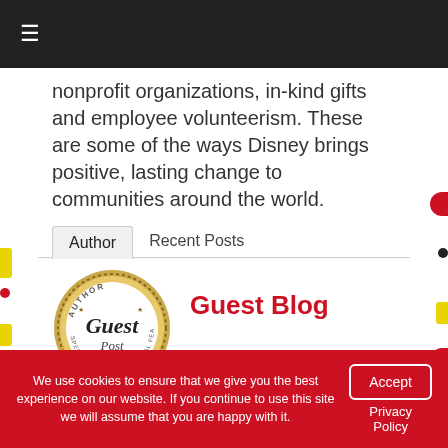≡
nonprofit organizations, in-kind gifts and employee volunteerism. These are some of the ways Disney brings positive, lasting change to communities around the world.
Author   Recent Posts
Guest Blog
[Figure (illustration): Circular guest author badge/seal with text 'Author Guest Post' in a decorative stamp style with gold/brown border]
We use cookies to ensure that we give you the best experience on our website. If you continue to use this site we will assume that you are happy with it.  Accept  Privacy Policy